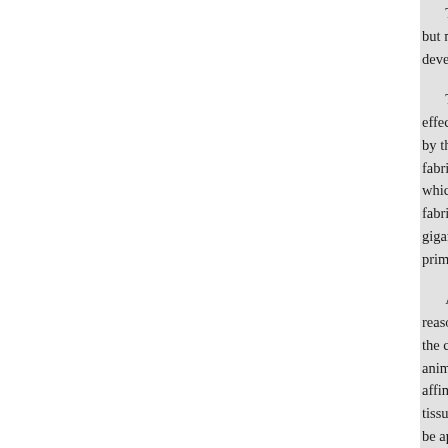To these may be added an orange color, but not directly applied; a green developed only on vegetable fibr…

The use of these colors gives a… effected by them was remarkably by the ancient, and the new or an fabrics of the Exposition, and, ad which the body could scarcely ex fabrics of the present day. Among gigantic plants buried in the coal primeval flowers, upon the tissue

Artistic reasons are not the onl reasons have had equal weight, e the coloring materials derived fro animal origin, or nitrogenized su affinity for these substances is so tissues, such as cotton, it is only be applied with the greatest facil mousselines or calicos, as they m colors are now sold commerciall anything more to do than to diss in the conditions in which it can